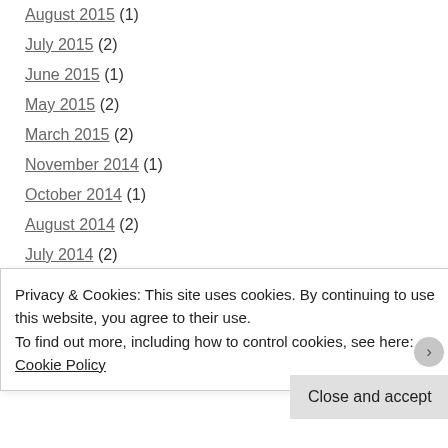August 2015 (1)
July 2015 (2)
June 2015 (1)
May 2015 (2)
March 2015 (2)
November 2014 (1)
October 2014 (1)
August 2014 (2)
July 2014 (2)
June 2014 (3)
May 2014 (5)
April 2014 (4)
March 2014 (9)
Privacy & Cookies: This site uses cookies. By continuing to use this website, you agree to their use.
To find out more, including how to control cookies, see here: Cookie Policy
Close and accept